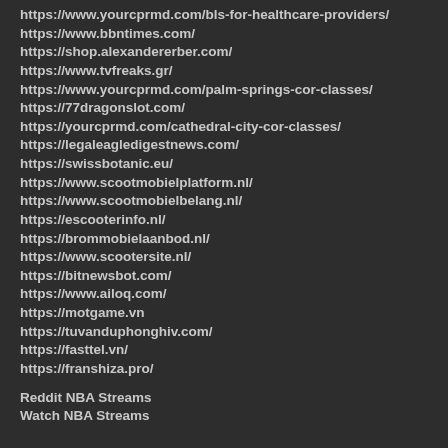https://www.yourcprmd.com/bls-for-healthcare-providers/
https://www.bbntimes.com/
https://shop.alexandererber.com/
https://www.tvfreaks.gr/
https://www.yourcprmd.com/palm-springs-cor-classes/
https://77dragonslot.com/
https://yourcprmd.com/cathedral-city-cor-classes/
https://legaleagledigestnews.com/
https://swissbotanic.eu/
https://www.scootmobielplatform.nl/
https://www.scootmobielbelang.nl/
https://escooterinfo.nl/
https://brommobielaanbod.nl/
https://www.scootersite.nl/
https://bitnewsbot.com/
https://www.ailoq.com/
https://motgame.vn
https://tuvanduphonghiv.com/
https://fasttel.vn/
https://franshiza.pro/
Reddit NBA Streams
Watch NBA Streams